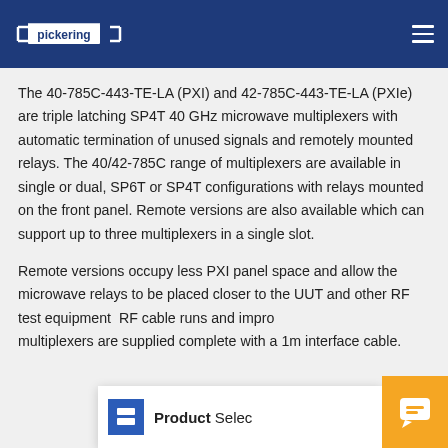Pickering navigation bar with logo and hamburger menu
The 40-785C-443-TE-LA (PXI) and 42-785C-443-TE-LA (PXIe) are triple latching SP4T 40 GHz microwave multiplexers with automatic termination of unused signals and remotely mounted relays. The 40/42-785C range of multiplexers are available in single or dual, SP6T or SP4T configurations with relays mounted on the front panel. Remote versions are also available which can support up to three multiplexers in a single slot.
Remote versions occupy less PXI panel space and allow the microwave relays to be placed closer to the UUT and other RF test equipment. This reduces RF cable runs and impr... multiplexers are supplied complete with a 1m interface cable.